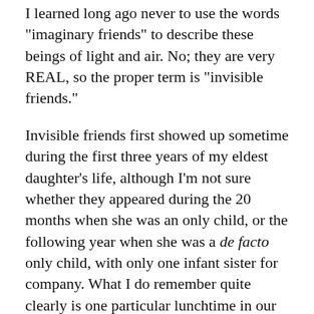I learned long ago never to use the words "imaginary friends" to describe these beings of light and air. No; they are very REAL, so the proper term is "invisible friends."
Invisible friends first showed up sometime during the first three years of my eldest daughter's life, although I'm not sure whether they appeared during the 20 months when she was an only child, or the following year when she was a de facto only child, with only one infant sister for company. What I do remember quite clearly is one particular lunchtime in our bungalow in Berkeley, California, when this daughter announced that her friends were coming for lunch. Could I please set places at the table for them?
Of course I could! Thrilled that my toddler was demonstrating such an active imagination, I asked, “Who are you expecting.”